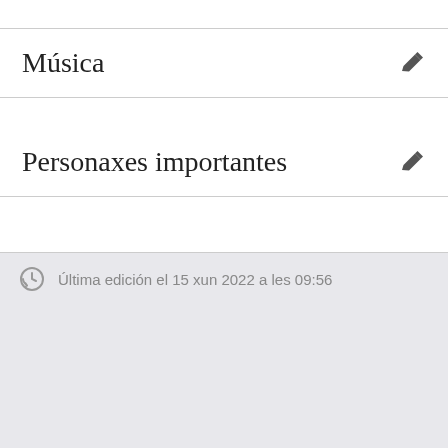Música
Personaxes importantes
Última edición el 15 xun 2022 a les 09:56